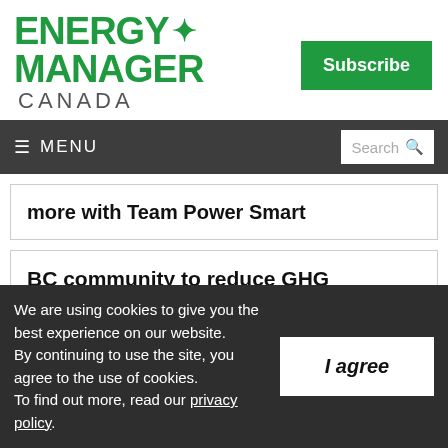[Figure (logo): Energy Manager Canada logo with maple leaf in green]
Subscribe
≡ MENU   Search
more with Team Power Smart
BC community to reduce GHG emissions with hydrogen power system
We are using cookies to give you the best experience on our website. By continuing to use the site, you agree to the use of cookies. To find out more, read our privacy policy.
I agree